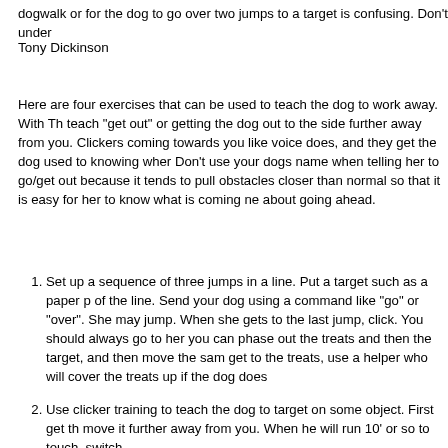dogwalk or for the dog to go over two jumps to a target is confusing. Don't under
Tony Dickinson
Here are four exercises that can be used to teach the dog to work away. With Th teach "get out" or getting the dog out to the side further away from you. Clickers coming towards you like voice does, and they get the dog used to knowing wher Don't use your dogs name when telling her to go/get out because it tends to pull obstacles closer than normal so that it is easy for her to know what is coming ne about going ahead.
Set up a sequence of three jumps in a line. Put a target such as a paper p of the line. Send your dog using a command like "go" or "over". She may jump. When she gets to the last jump, click. You should always go to her you can phase out the treats and then the target, and then move the sam get to the treats, use a helper who will cover the treats up if the dog does
Use clicker training to teach the dog to target on some object. First get th move it further away from you. When he will run 10' or so to touch, switch
Teach a get out around a tree. At first have the dog walk/jog beside you a hand that is nearest the dog (hand toward the dog, palm out like a policer to the other side, call her to you and praise. Once she gets the idea, start there is a park nearby, soccer goals are great for this).